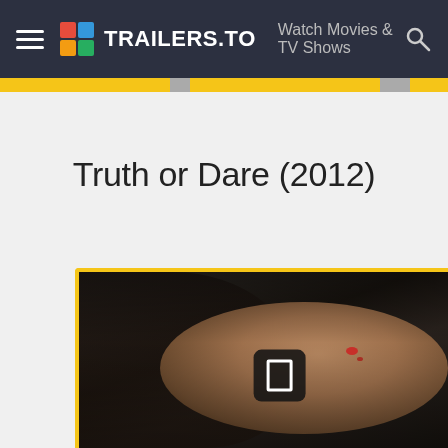TRAILERS.TO — Watch Movies & TV Shows
Truth or Dare (2012)
[Figure (photo): Screenshot of the Trailers.to website showing the movie page for Truth or Dare (2012). The page features a dark navigation bar with the Trailers.to logo, hamburger menu, and search icon. Below is the movie title 'Truth or Dare (2012)' on a light gray background. The lower portion shows a movie still of a young woman with dark hair and a wound on her cheek, looking upward with mouth open in distress, with a play button overlay in the center.]